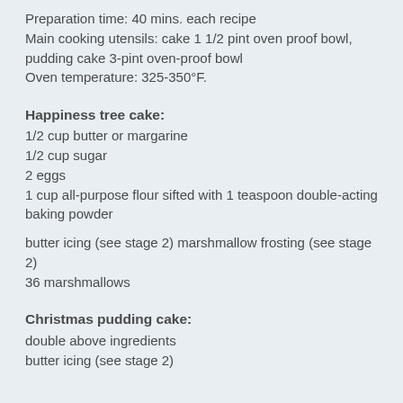Preparation time: 40 mins. each recipe
Main cooking utensils: cake 1 1/2 pint oven proof bowl, pudding cake 3-pint oven-proof bowl
Oven temperature: 325-350°F.
Happiness tree cake:
1/2 cup butter or margarine
1/2 cup sugar
2 eggs
1 cup all-purpose flour sifted with 1 teaspoon double-acting baking powder
butter icing (see stage 2) marshmallow frosting (see stage 2)
36 marshmallows
Christmas pudding cake:
double above ingredients
butter icing (see stage 2)